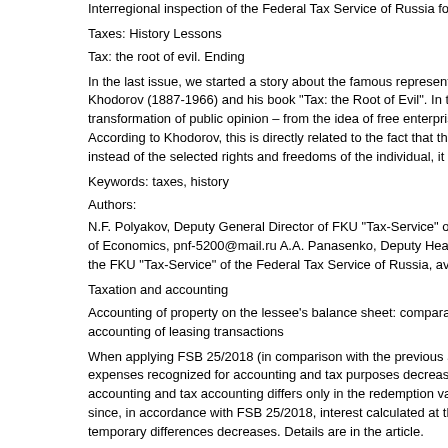Interregional inspection of the Federal Tax Service of Russia for the Largest Taxpayers
Taxes: History Lessons
Tax: the root of evil. Ending
In the last issue, we started a story about the famous representative of the American c Khodorov (1887-1966) and his book "Tax: the Root of Evil". In this book, he describ transformation of public opinion – from the idea of free enterprise to the idea of unive According to Khodorov, this is directly related to the fact that the state "hooked" citiz instead of the selected rights and freedoms of the individual, it gave the illusion of so
Keywords: taxes, history
Authors:
N.F. Polyakov, Deputy General Director of FKU "Tax-Service" of the Federal Tax Se of Economics, pnf-5200@mail.ru A.A. Panasenko, Deputy Head of the Department fo the FKU "Tax-Service" of the Federal Tax Service of Russia, avtor3@npip.ru
Taxation and accounting
Accounting of property on the lessee's balance sheet: comparative analysis of expense accounting of leasing transactions
When applying FSB 25/2018 (in comparison with the previous accounting procedure) expenses recognized for accounting and tax purposes decreases. This is due to the fac accounting and tax accounting differs only in the redemption value, the differences in since, in accordance with FSB 25/2018, interest calculated at the discount rate is inclu temporary differences decreases. Details are in the article.
Keywords: federal accounting standard
Author: V.M. Yemelyanova, Leading expert auditor of the Yukon Audit Consulting C